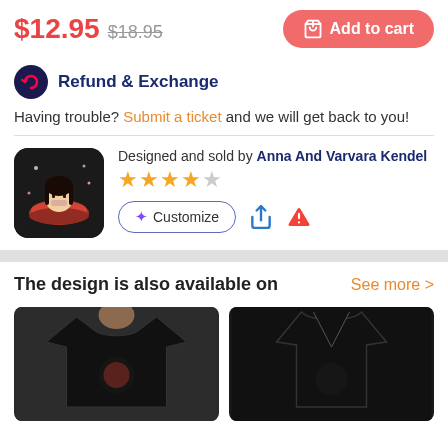$12.95  $18.95  Add to cart
Refund & Exchange
Having trouble? Submit a ticket and we will get back to you!
Designed and sold by Anna And Varvara Kendel
[Figure (illustration): Product thumbnail showing anime character in ramen bowl on dark background]
★★★★☆
Customize  [share icon]  [warning icon]
The design is also available on
See more >
[Figure (photo): Black t-shirt with anime design worn by model]
[Figure (photo): Black tank top with anime design]